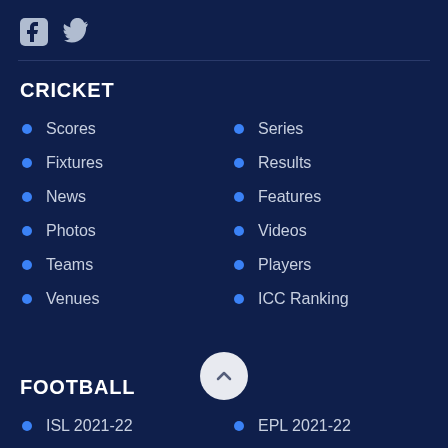[Figure (logo): Facebook and Twitter social media icons in light gray on dark navy background]
CRICKET
Scores
Series
Fixtures
Results
News
Features
Photos
Videos
Teams
Players
Venues
ICC Ranking
FOOTBALL
ISL 2021-22
EPL 2021-22